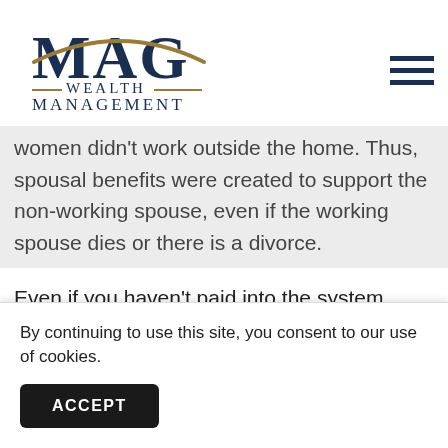[Figure (logo): MAG Wealth Management logo with navy blue letters and gold swoosh]
women didn't work outside the home. Thus, spousal benefits were created to support the non-working spouse, even if the working spouse dies or there is a divorce.
Even if you haven't paid into the system formally, you can receive a benefit that is half the amount of your spouse's benefit. Because you supported someone who...b...
By continuing to use this site, you consent to our use of cookies.
ACCEPT